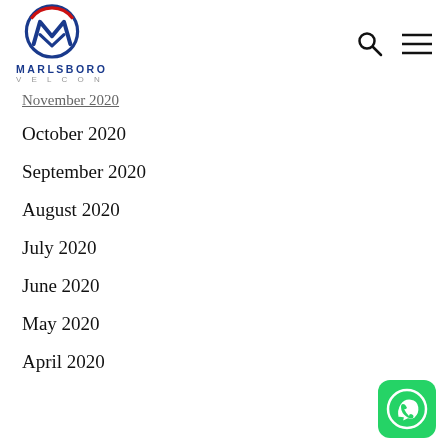Marlsboro Velcon logo header with search and menu icons
November 2020 (partially visible)
October 2020
September 2020
August 2020
July 2020
June 2020
May 2020
April 2020
[Figure (logo): WhatsApp icon button in bottom right corner]